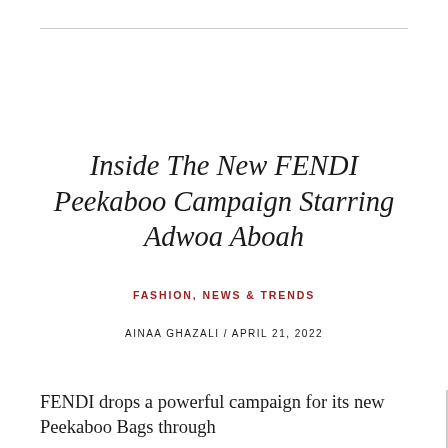Inside The New FENDI Peekaboo Campaign Starring Adwoa Aboah
FASHION, NEWS & TRENDS
AINAA GHAZALI / APRIL 21, 2022
FENDI drops a powerful campaign for its new Peekaboo Bags through